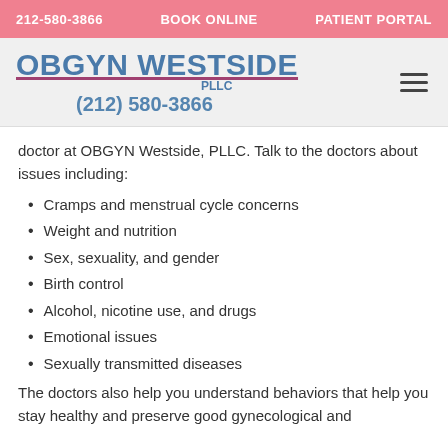212-580-3866   BOOK ONLINE   PATIENT PORTAL
OBGYN WESTSIDE PLLC (212) 580-3866
doctor at OBGYN Westside, PLLC. Talk to the doctors about issues including:
Cramps and menstrual cycle concerns
Weight and nutrition
Sex, sexuality, and gender
Birth control
Alcohol, nicotine use, and drugs
Emotional issues
Sexually transmitted diseases
The doctors also help you understand behaviors that help you stay healthy and preserve good gynecological and